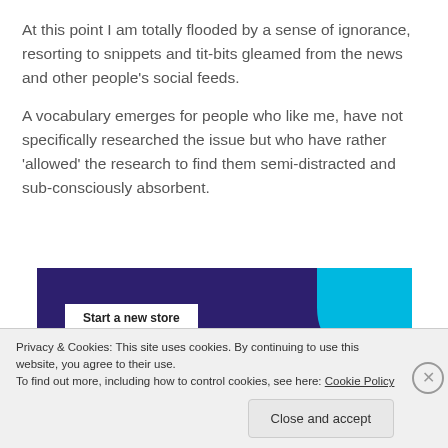At this point I am totally flooded by a sense of ignorance, resorting to snippets and tit-bits gleamed from the news and other people's social feeds.
A vocabulary emerges for people who like me, have not specifically researched the issue but who have rather 'allowed' the research to find them semi-distracted and sub-consciously absorbent.
[Figure (screenshot): E-commerce website banner with dark purple background, cyan curve on right side, and a 'Start a new store' button in white.]
Privacy & Cookies: This site uses cookies. By continuing to use this website, you agree to their use.
To find out more, including how to control cookies, see here: Cookie Policy